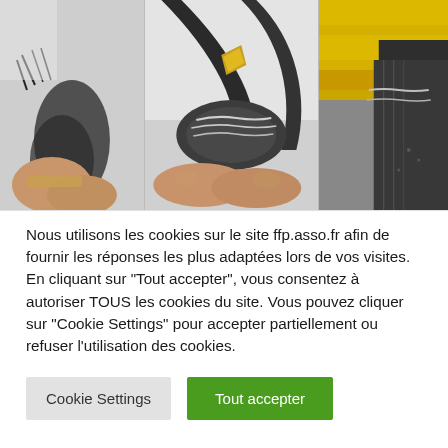[Figure (photo): Three-panel photo composite showing close-up images of hands holding damaged dark fabric/strap material. Left panel shows a hand gripping dark fibrous material against a white background. Middle panel shows hands pulling apart frayed dark textile/strap with white background. Right panel shows the same material near a yellow surface/structure.]
Nous utilisons les cookies sur le site ffp.asso.fr afin de fournir les réponses les plus adaptées lors de vos visites. En cliquant sur "Tout accepter", vous consentez à autoriser TOUS les cookies du site. Vous pouvez cliquer sur "Cookie Settings" pour accepter partiellement ou refuser l'utilisation des cookies.